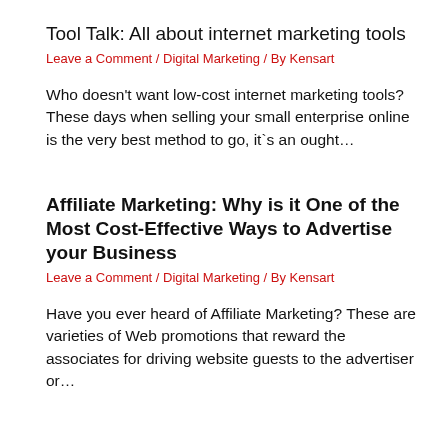Tool Talk: All about internet marketing tools
Leave a Comment / Digital Marketing / By Kensart
Who doesn’t want low-cost internet marketing tools? These days when selling your small enterprise online is the very best method to go, it`s an ought…
Affiliate Marketing: Why is it One of the Most Cost-Effective Ways to Advertise your Business
Leave a Comment / Digital Marketing / By Kensart
Have you ever heard of Affiliate Marketing? These are varieties of Web promotions that reward the associates for driving website guests to the advertiser or…